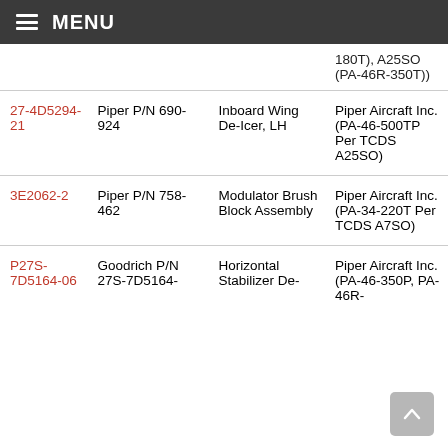MENU
|  | Part Number | Part Name | Aircraft |
| --- | --- | --- | --- |
|  |  |  | 180T), A25SO (PA-46R-350T)) |
| 27-4D5294-21 | Piper P/N 690-924 | Inboard Wing De-Icer, LH | Piper Aircraft Inc. (PA-46-500TP Per TCDS A25SO) |
| 3E2062-2 | Piper P/N 758-462 | Modulator Brush Block Assembly | Piper Aircraft Inc. (PA-34-220T Per TCDS A7SO) |
| P27S-7D5164-06 | Goodrich P/N 27S-7D5164- | Horizontal Stabilizer De- | Piper Aircraft Inc. (PA-46-350P, PA-46R- |